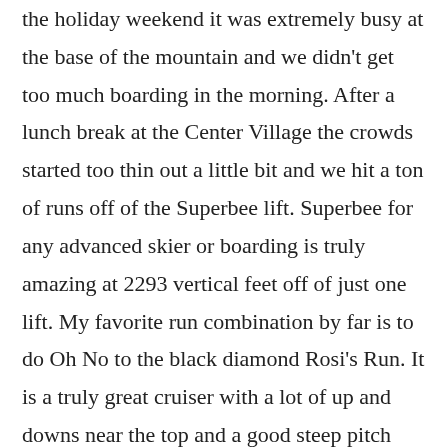the holiday weekend it was extremely busy at the base of the mountain and we didn't get too much boarding in the morning. After a lunch break at the Center Village the crowds started too thin out a little bit and we hit a ton of runs off of the Superbee lift. Superbee for any advanced skier or boarding is truly amazing at 2293 vertical feet off of just one lift. My favorite run combination by far is to do Oh No to the black diamond Rosi's Run. It is a truly great cruiser with a lot of up and downs near the top and a good steep pitch near the bottom. Did this run more than a couple times that day until the lifts closed. By the time the lifts closed the Seattle Seahawks game was in the last ten minutes and we managed to enjoy a couple drinks and watch Seattle pull off the comeback with the mountain in the